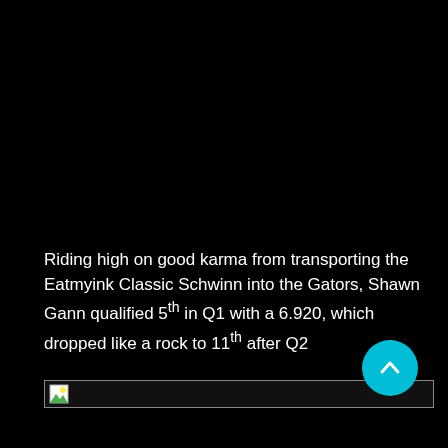Riding high on good karma from transporting the Eatmyink Classic Schwinn into the Gators, Shawn Gann qualified 5th in Q1 with a 6.920, which dropped like a rock to 11th after Q2
[Figure (other): Broken/missing image placeholder icon with horizontal border]